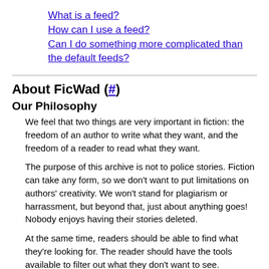What is a feed?
How can I use a feed?
Can I do something more complicated than the default feeds?
About FicWad (#)
Our Philosophy
We feel that two things are very important in fiction: the freedom of an author to write what they want, and the freedom of a reader to read what they want.
The purpose of this archive is not to police stories. Fiction can take any form, so we don't want to put limitations on authors' creativity. We won't stand for plagiarism or harrassment, but beyond that, just about anything goes! Nobody enjoys having their stories deleted.
At the same time, readers should be able to find what they're looking for. The reader should have the tools available to filter out what they don't want to see.
Above all, we feel that fiction should be fun, and that an archive is nothing without it...